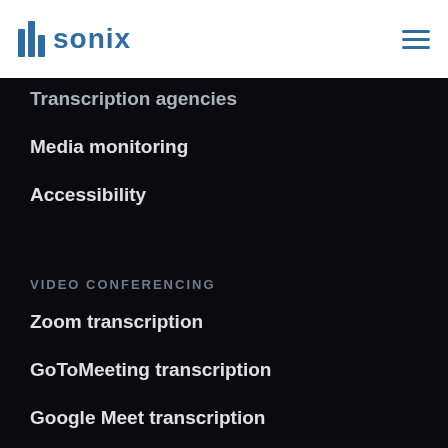sonix
Transcription agencies
Media monitoring
Accessibility
VIDEO CONFERENCING
Zoom transcription
GoToMeeting transcription
Google Meet transcription
Loom transcription
UberConference transcription
WebEx transcription
Skype call transcription